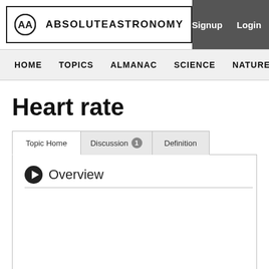ABSOLUTEASTRONOMY  Signup  Login
HOME  TOPICS  ALMANAC  SCIENCE  NATURE  PEOPLE
Heart rate
Topic Home  Discussion 1  Definition
Overview